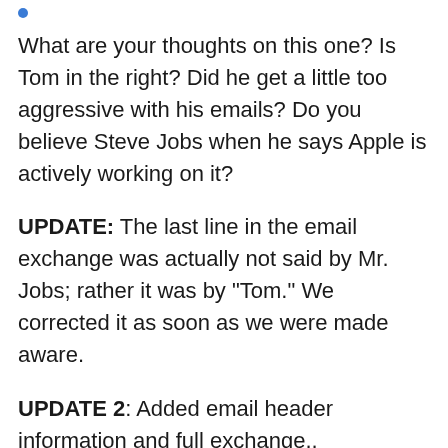What are your thoughts on this one? Is Tom in the right? Did he get a little too aggressive with his emails? Do you believe Steve Jobs when he says Apple is actively working on it?
UPDATE: The last line in the email exchange was actually not said by Mr. Jobs; rather it was by "Tom." We corrected it as soon as we were made aware.
UPDATE 2: Added email header information and full exchange..